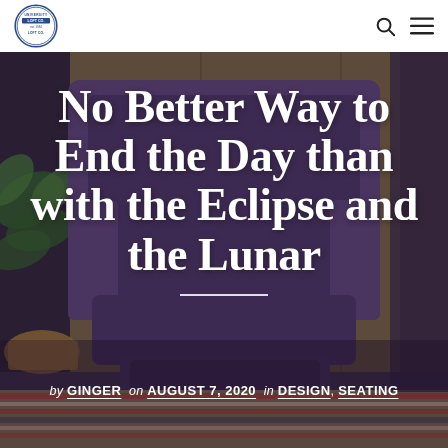University Loft Co. logo, search icon, menu icon
[Figure (photo): Background photo of a purple/dark upholstered high-back wing chair with matching ottoman, set against a wood-panel wall with green plants and a striped rug on the floor]
No Better Way to End the Day than with the Eclipse and the Lunar
by GINGER  on AUGUST 7, 2020  in DESIGN, SEATING